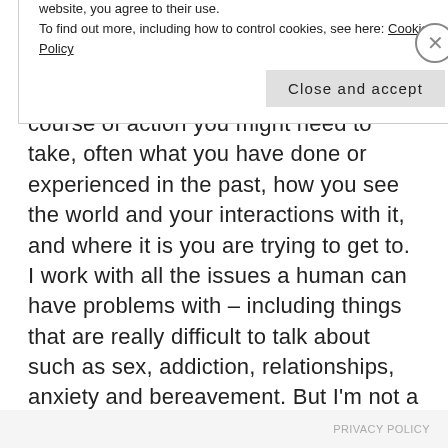and listen, talk and engage with you in a relational manner. In short we will have conversations about you, what course of action you might need to take, often what you have done or experienced in the past, how you see the world and your interactions with it, and where it is you are trying to get to. I work with all the issues a human can have problems with – including things that are really difficult to talk about such as sex, addiction, relationships, anxiety and bereavement. But I'm not a doctor of the mind and I'm not a scientist of the mind. I'm more an interpreter or an artist, helping you to construct your
Privacy & Cookies: This site uses cookies. By continuing to use this website, you agree to their use.
To find out more, including how to control cookies, see here: Cookie Policy
Close and accept